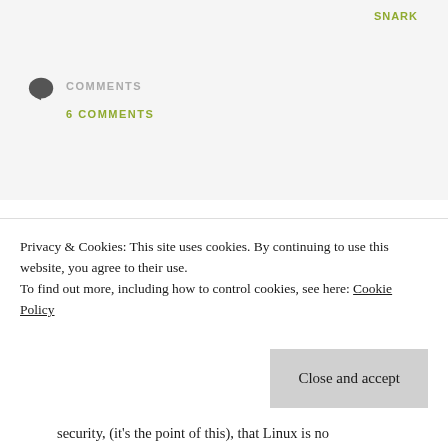SNARK
COMMENTS
6 COMMENTS
I'M TIRED OF THIS MYTH
I had a discussion today with someone who maintained with confidence that "If Linux were as popular as Windows, we'd be seeing just as many viruses and just
Privacy & Cookies: This site uses cookies. By continuing to use this website, you agree to their use.
To find out more, including how to control cookies, see here: Cookie Policy
Close and accept